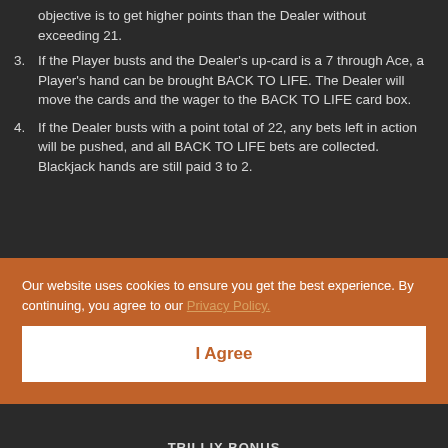objective is to get higher points than the Dealer without exceeding 21.
3. If the Player busts and the Dealer's up-card is a 7 through Ace, a Player's hand can be brought BACK TO LIFE. The Dealer will move the cards and the wager to the BACK TO LIFE card box.
4. If the Dealer busts with a point total of 22, any bets left in action will be pushed, and all BACK TO LIFE bets are collected. Blackjack hands are still paid 3 to 2.
Our website uses cookies to ensure you get the best experience. By continuing, you agree to our Privacy Policy.
I Agree
TRILLIX BONUS